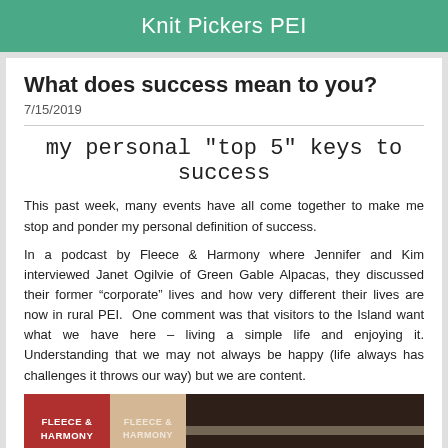Knit Pickers PEI
What does success mean to you?
7/15/2019
my personal "top 5" keys to success
This past week, many events have all come together to make me stop and ponder my personal definition of success.
In a podcast by Fleece & Harmony where Jennifer and Kim interviewed Janet Ogilvie of Green Gable Alpacas, they discussed their former “corporate” lives and how very different their lives are now in rural PEI.  One comment was that visitors to the Island want what we have here – living a simple life and enjoying it. Understanding that we may not always be happy (life always has challenges it throws our way) but we are content.
[Figure (photo): Image strip showing Fleece & Harmony logo on red background, a faded tan version, and a dark indoor scene]